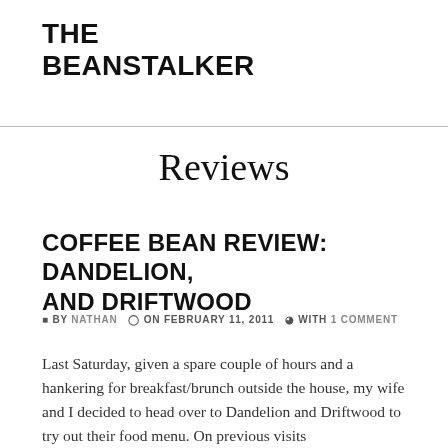THE BEANSTALKER
Reviews
COFFEE BEAN REVIEW: DANDELION, AND DRIFTWOOD
BY NATHAN  ON FEBRUARY 11, 2011  WITH 1 COMMENT
Last Saturday, given a spare couple of hours and a hankering for breakfast/brunch outside the house, my wife and I decided to head over to Dandelion and Driftwood to try out their food menu. On previous visits